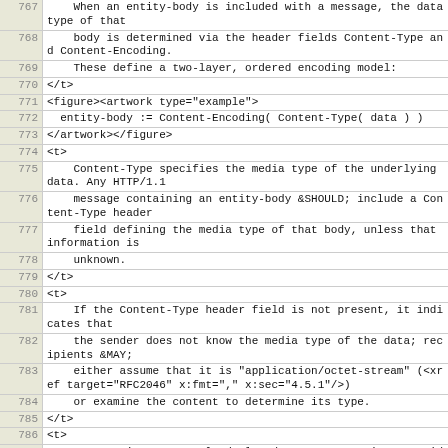| line | code |
| --- | --- |
| 767 |     When an entity-body is included with a message, the data type of that |
| 768 |     body is determined via the header fields Content-Type and Content-Encoding. |
| 769 |     These define a two-layer, ordered encoding model: |
| 770 | </t> |
| 771 | <figure><artwork type="example"> |
| 772 |   entity-body := Content-Encoding( Content-Type( data ) ) |
| 773 | </artwork></figure> |
| 774 | <t> |
| 775 |     Content-Type specifies the media type of the underlying data. Any HTTP/1.1 |
| 776 |     message containing an entity-body &SHOULD; include a Content-Type header |
| 777 |     field defining the media type of that body, unless that information is |
| 778 |     unknown. |
| 779 | </t> |
| 780 | <t> |
| 781 |     If the Content-Type header field is not present, it indicates that |
| 782 |     the sender does not know the media type of the data; recipients &MAY; |
| 783 |     either assume that it is "application/octet-stream" (<xref target="RFC2046" x:fmt="," x:sec="4.5.1"/>) |
| 784 |     or examine the content to determine its type. |
| 785 | </t> |
| 786 | <t> |
| 787 |     In practice, currently-deployed servers sometimes provide a Content-Type |
| 788 |     header which does not correctly convey the intended interpretation of the |
| 789 |     content sent, with the result that some clients will |